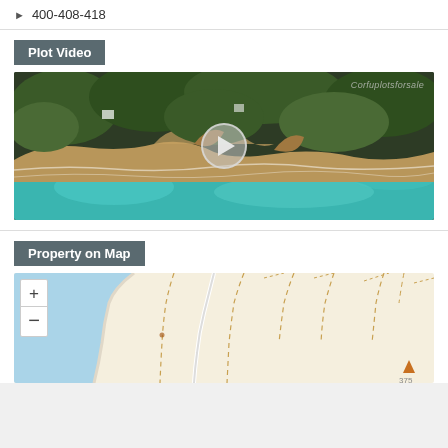400-408-418
Plot Video
[Figure (photo): Aerial drone video thumbnail of a coastal Corfu cliff landscape with dense green forest and turquoise sea water. Watermark reads 'Corfuplotsforsale'. A play button is centered on the image.]
Property on Map
[Figure (map): Interactive map showing the property location with zoom in (+) and zoom out (-) controls on the left. The map shows a coastal area with topographic dotted lines and an orange location marker triangle with elevation number 375.]